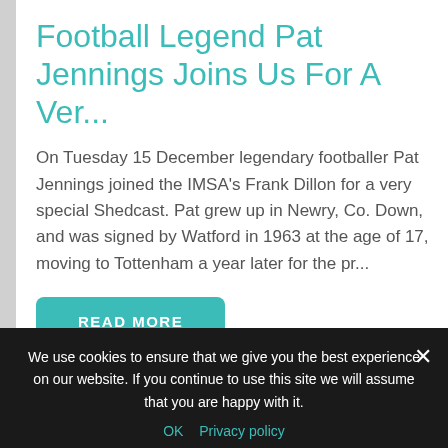Football Legend Pat Jennings Joins Us For A Ver...
On Tuesday 15 December legendary footballer Pat Jennings joined the IMSA's Frank Dillon for a very special Shedcast. Pat grew up in Newry, Co. Down, and was signed by Watford in 1963 at the age of 17, moving to Tottenham a year later for the pr...
READ MORE
We use cookies to ensure that we give you the best experience on our website. If you continue to use this site we will assume that you are happy with it.
OK  Privacy policy